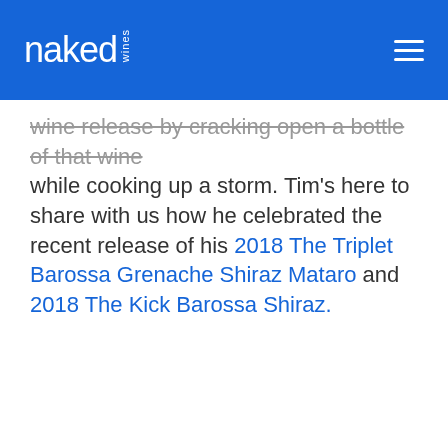naked wines
wine release by cracking open a bottle of that wine while cooking up a storm. Tim's here to share with us how he celebrated the recent release of his 2018 The Triplet Barossa Grenache Shiraz Mataro and 2018 The Kick Barossa Shiraz.